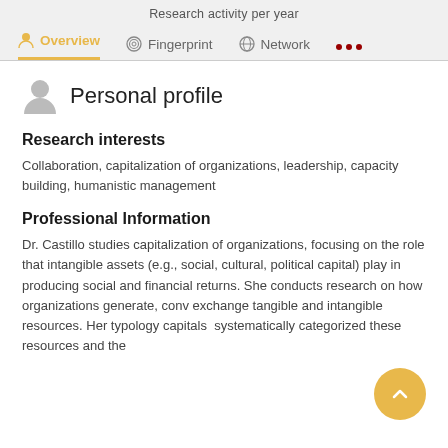Research activity per year
Personal profile
Research interests
Collaboration, capitalization of organizations, leadership, capacity building, humanistic management
Professional Information
Dr. Castillo studies capitalization of organizations, focusing on the role that intangible assets (e.g., social, cultural, political capital) play in producing social and financial returns. She conducts research on how organizations generate, conv exchange tangible and intangible resources. Her typology capitals systematically categorized these resources and the